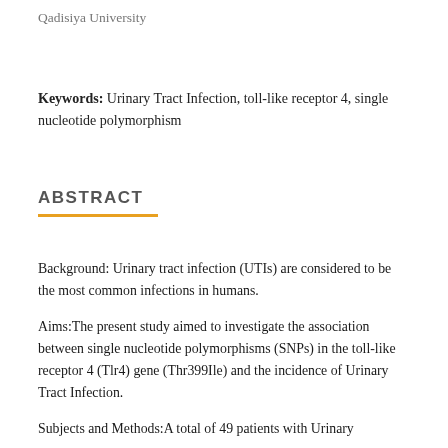Qadisiya University
Keywords: Urinary Tract Infection, toll-like receptor 4, single nucleotide polymorphism
ABSTRACT
Background: Urinary tract infection (UTIs) are considered to be the most common infections in humans.
Aims:The present study aimed to investigate the association between single nucleotide polymorphisms (SNPs) in the toll-like receptor 4 (Tlr4) gene (Thr399Ile) and the incidence of Urinary Tract Infection.
Subjects and Methods:A total of 49 patients with Urinary